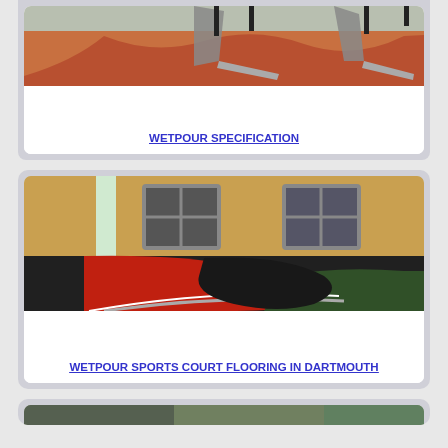[Figure (photo): Playground with metal slides on orange/red wetpour rubber surfacing]
WETPOUR SPECIFICATION
[Figure (photo): Wetpour sports court flooring with red, black, and green rubber surfacing beside a brick school building]
WETPOUR SPORTS COURT FLOORING IN DARTMOUTH
[Figure (photo): Partial image of another wetpour installation (cropped at bottom of page)]